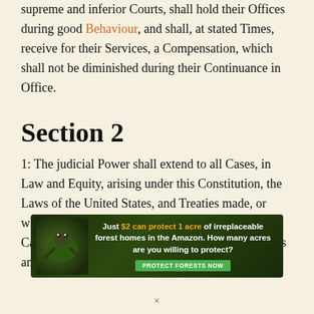supreme and inferior Courts, shall hold their Offices during good Behaviour, and shall, at stated Times, receive for their Services, a Compensation, which shall not be diminished during their Continuance in Office.
Section 2
1: The judicial Power shall extend to all Cases, in Law and Equity, arising under this Constitution, the Laws of the United States, and Treaties made, or which shall be made, under their Authority;—to all Cases affecting Ambassadors, other public Ministers and Consuls;—to all Cases of admiralty
[Figure (infographic): Advertisement banner: dark green forest background with a sloth image. Text reads: 'Just $2 can protect 1 acre of irreplaceable forest homes in the Amazon. How many acres are you willing to protect?' with a green button 'PROTECT FORESTS NOW']
×